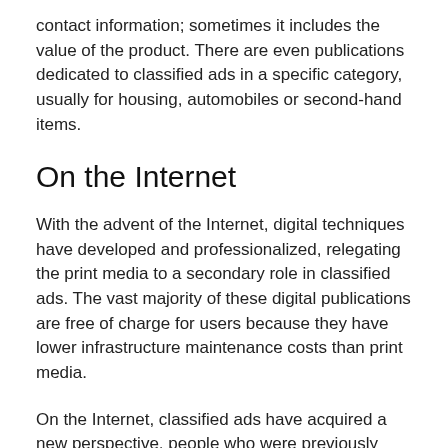contact information; sometimes it includes the value of the product. There are even publications dedicated to classified ads in a specific category, usually for housing, automobiles or second-hand items.
On the Internet
With the advent of the Internet, digital techniques have developed and professionalized, relegating the print media to a secondary role in classified ads. The vast majority of these digital publications are free of charge for users because they have lower infrastructure maintenance costs than print media.
On the Internet, classified ads have acquired a new perspective, people who were previously